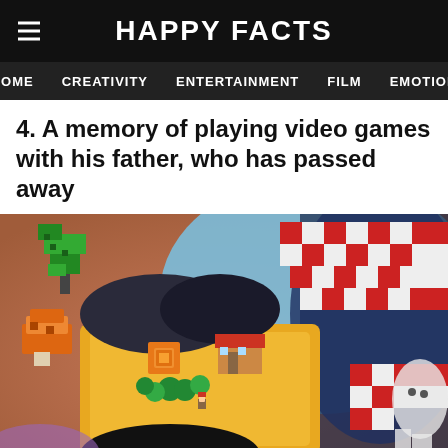HAPPY FACTS
HOME   CREATIVITY   ENTERTAINMENT   FILM   EMOTION
4. A memory of playing video games with his father, who has passed away
[Figure (photo): Close-up photo of a colorful tattoo featuring pixel art video game characters and scenes, including 8-bit style sprites resembling characters from classic video games like The Legend of Zelda, with a yellow overworld map, green trees, pixel characters, and red-and-white checkered elements against dark skin.]